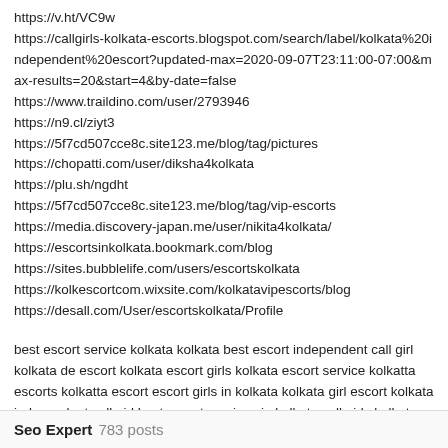https://v.ht/VC9w
https://callgirls-kolkata-escorts.blogspot.com/search/label/kolkata%20independent%20escort?updated-max=2020-09-07T23:11:00-07:00&max-results=20&start=4&by-date=false
https://www.traildino.com/user/2793946
https://n9.cl/ziyt3
https://5f7cd507cce8c.site123.me/blog/tag/pictures
https://chopatti.com/user/diksha4kolkata
https://plu.sh/ngdht
https://5f7cd507cce8c.site123.me/blog/tag/vip-escorts
https://media.discovery-japan.me/user/nikita4kolkata/
https://escortsinkolkata.bookmark.com/blog
https://sites.bubblelife.com/users/escortskolkata
https://kolkescortcom.wixsite.com/kolkatavipescorts/blog
https://desall.com/User/escortskolkata/Profile
best escort service kolkata kolkata best escort independent call girl kolkata de escort kolkata escort girls kolkata escort service kolkatta escorts kolkatta escort escort girls in kolkata kolkata girl escort kolkata independent call girl best escort services in kolkata call girls kolkata best escort in kolkata kolkataescort call girl service in kolkata calcutta escort kolkata escorts girls escorts in kolkatta escort service in calcutta independent call girls kolkata independent escort service kolkata kolkatta escort service kolkata call girl service best call girl service in kolkata
Seo Expert  783 posts